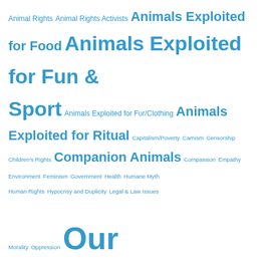[Figure (other): Tag cloud with various animal rights and social topics in varying font sizes, all in blue. Topics include: Animal Rights, Animal Rights Activists, Animals Exploited for Food, Animals Exploited for Fun & Sport, Animals Exploited for Fur/Clothing, Animals Exploited for Ritual, Capitalism/Poverty, Carnism, Censorship, Children's Rights, Companion Animals, Compassion, Empathy, Environment, Feminism, Government, Health, Humane Myth, Human Rights, Hypocrisy and Duplicity, Legal & Law Issues, Morality, Oppression, Our Compass, Politics, Profit vs. Decency, Racism, Religion, Rescued Animals, Speciesism, Veganism, Vivisection / Testing]
Action Alerts – Our Compass
Ban Mule-Drawn Carriage Rides in New Orleans